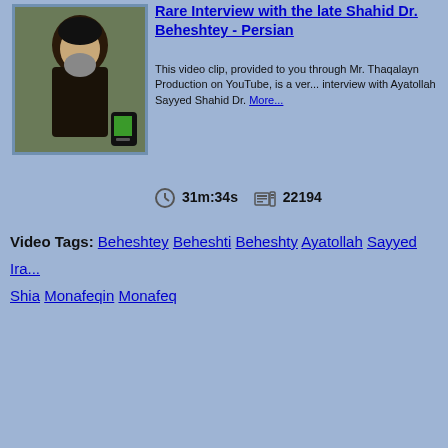[Figure (screenshot): Thumbnail of a man in clerical attire with black turban and beard, with a phone icon overlay]
Rare Interview with the late Shahid Dr. Beheshtey - Persian
This video clip, provided to you through Mr. Thaqalayn Production on YouTube, is a very rare interview with Ayatollah Sayyed Shahid Dr. More...
31m:34s   22194
Video Tags: Beheshtey  Beheshti  Beheshty  Ayatollah  Sayyed  Ir... Shia  Monafeqin  Monafeq
« Previous  1  2  3  4  5  6  7  8  9  10  Next »  Last
Copyright © TheMu... About Us | Contact Us | Help... TheMuslimTV.net is founded to provide a source of education fo... by monitoring, procuring, translating, studying, sharing and preserving all... We aim to promote education and understanding while building a historic...